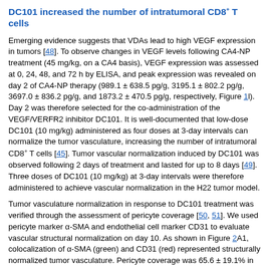DC101 increased the number of intratumoral CD8+ T cells
Emerging evidence suggests that VDAs lead to high VEGF expression in tumors [48]. To observe changes in VEGF levels following CA4-NP treatment (45 mg/kg, on a CA4 basis), VEGF expression was assessed at 0, 24, 48, and 72 h by ELISA, and peak expression was revealed on day 2 of CA4-NP therapy (989.1 ± 638.5 pg/g, 3195.1 ± 802.2 pg/g, 3697.0 ± 836.2 pg/g, and 1873.2 ± 470.5 pg/g, respectively, Figure 1l). Day 2 was therefore selected for the co-administration of the VEGF/VERFR2 inhibitor DC101. It is well-documented that low-dose DC101 (10 mg/kg) administered as four doses at 3-day intervals can normalize the tumor vasculature, increasing the number of intratumoral CD8+ T cells [45]. Tumor vascular normalization induced by DC101 was observed following 2 days of treatment and lasted for up to 8 days [49]. Three doses of DC101 (10 mg/kg) at 3-day intervals were therefore administered to achieve vascular normalization in the H22 tumor model.
Tumor vasculature normalization in response to DC101 treatment was verified through the assessment of pericyte coverage [50, 51]. We used pericyte marker α-SMA and endothelial cell marker CD31 to evaluate vascular structural normalization on day 10. As shown in Figure 2A1, colocalization of α-SMA (green) and CD31 (red) represented structurally normalized tumor vasculature. Pericyte coverage was 65.6 ± 19.1% in the DC101 group compared with 14.9 ± 4.4% in the PBS group, suggesting that DC101 treatment significantly increased pericyte coverage (Figure 2B1). Normalization of the vascular structure induced by DC101 treatment would be expected to be accompanied by functional changes. Therefore, we assessed vessel function by analyzing for tumor blood vessel perfusion and hypoxia. Hoechst 33342 is a low-molecular-weight DNA